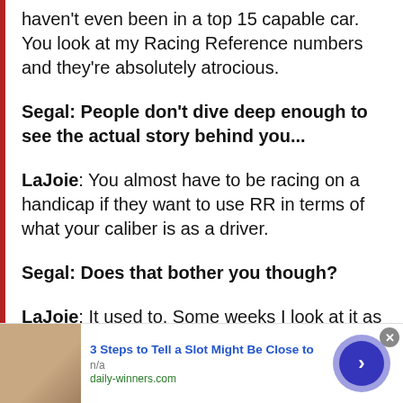haven't even been in a top 15 capable car. You look at my Racing Reference numbers and they're absolutely atrocious.
Segal: People don't dive deep enough to see the actual story behind you...
LaJoie: You almost have to be racing on a handicap if they want to use RR in terms of what your caliber is as a driver.
Segal: Does that bother you though?
LaJoie: It used to. Some weeks I look at it as a job. I'm very blessed to make the
[Figure (other): Advertisement banner: image of a person, text '3 Steps to Tell a Slot Might Be Close to', 'n/a', 'daily-winners.com', close button, arrow navigation button]